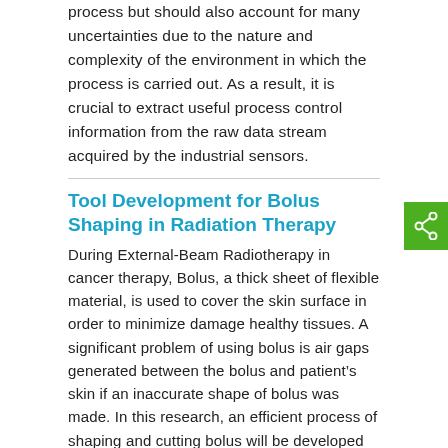process but should also account for many uncertainties due to the nature and complexity of the environment in which the process is carried out. As a result, it is crucial to extract useful process control information from the raw data stream acquired by the industrial sensors.
Tool Development for Bolus Shaping in Radiation Therapy
During External-Beam Radiotherapy in cancer therapy, Bolus, a thick sheet of flexible material, is used to cover the skin surface in order to minimize damage healthy tissues. A significant problem of using bolus is air gaps generated between the bolus and patient’s skin if an inaccurate shape of bolus was made. In this research, an efficient process of shaping and cutting bolus will be developed to improve the efficiency and efficacy of bolus forming in order to minimize the air gap. This new approach utilizes an unfolding and folding method.
A Customized CAD Tool for Automated CNC Program Code Generation